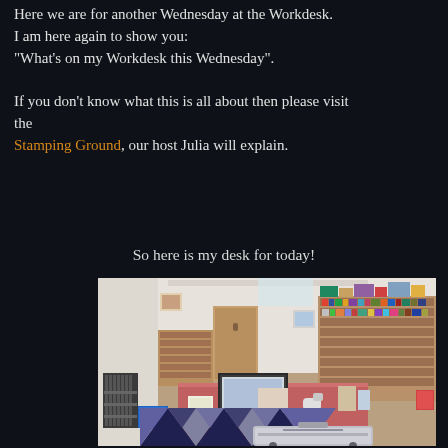Here we are for another Wednesday at the Workdesk. I am here again to show you: "What's on my Workdesk this Wednesday".
If you don't know what this is all about then please visit the Stamping Ground, our host Julia will explain.
So here is my desk for today!
[Figure (photo): A cluttered craft/hobby room with a red-topped desk holding a laptop, bookshelves packed with supplies, a radiator on the left, a patchwork quilt mat on the floor, and a suitcase in the foreground.]